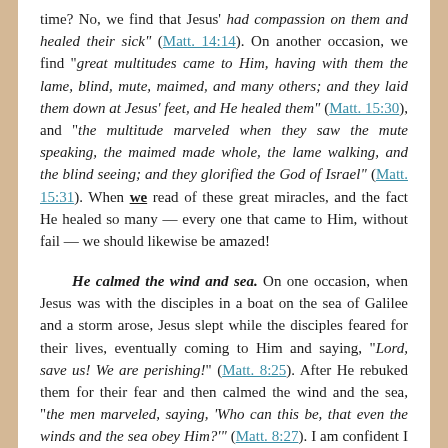time? No, we find that Jesus' had compassion on them and healed their sick" (Matt. 14:14). On another occasion, we find "great multitudes came to Him, having with them the lame, blind, mute, maimed, and many others; and they laid them down at Jesus' feet, and He healed them" (Matt. 15:30), and "the multitude marveled when they saw the mute speaking, the maimed made whole, the lame walking, and the blind seeing; and they glorified the God of Israel" (Matt. 15:31). When we read of these great miracles, and the fact He healed so many — every one that came to Him, without fail — we should likewise be amazed!
He calmed the wind and sea. On one occasion, when Jesus was with the disciples in a boat on the sea of Galilee and a storm arose, Jesus slept while the disciples feared for their lives, eventually coming to Him and saying, "Lord, save us! We are perishing!" (Matt. 8:25). After He rebuked them for their fear and then calmed the wind and the sea, "the men marveled, saying, 'Who can this be, that even the winds and the sea obey Him?'" (Matt. 8:27). I am confident I would have been